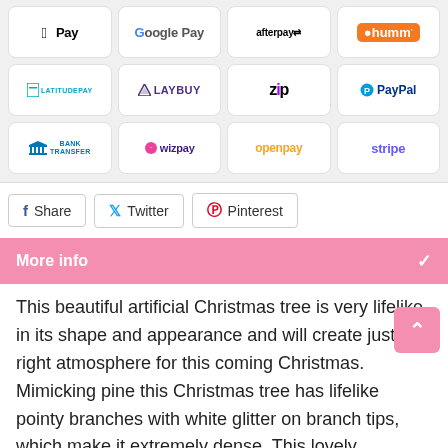[Figure (other): Payment method logos grid: Apple Pay, Google Pay, Afterpay, humm, LatitudePay, Laybuy, Zip, PayPal, Bank Transfer, Wizpay, Openpay, Stripe]
Share
Twitter
Pinterest
More info
This beautiful artificial Christmas tree is very lifelike in its shape and appearance and will create just the right atmosphere for this coming Christmas. Mimicking pine this Christmas tree has lifelike pointy branches with white glitter on branch tips, which make it extremely dense. This lovely Christmas tree is lightweight and durable. The needle branches and natural pine cones included can be arranged